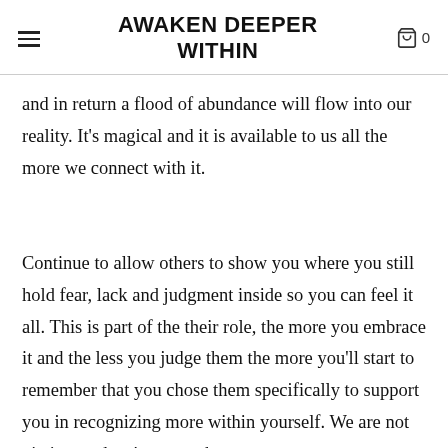AWAKEN DEEPER WITHIN
and in return a flood of abundance will flow into our reality. It’s magical and it is available to us all the more we connect with it.
Continue to allow others to show you where you still hold fear, lack and judgment inside so you can feel it all. This is part of the their role, the more you embrace it and the less you judge them the more you’ll start to remember that you chose them specifically to support you in recognizing more within yourself. We are not victims and we’ve never been,